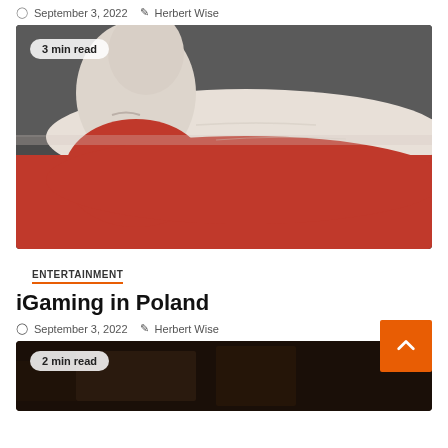September 3, 2022  Herbert Wise
[Figure (photo): A thumbs-up hand painted with the Polish flag colors — white on top half and red on bottom half — against a dark gray background. Badge reads '3 min read'.]
ENTERTAINMENT
iGaming in Poland
September 3, 2022  Herbert Wise
[Figure (photo): Partially visible dark image at the bottom. Badge reads '2 min read'.]